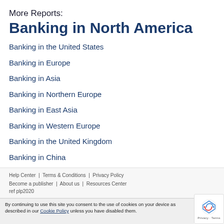More Reports:
Banking in North America
Banking in the United States
Banking in Europe
Banking in Asia
Banking in Northern Europe
Banking in East Asia
Banking in Western Europe
Banking in the United Kingdom
Banking in China
Help Center | Terms & Conditions | Privacy Policy Become a publisher | About us | Resources Center ref plp2020
By continuing to use this site you consent to the use of cookies on your device as described in our Cookie Policy unless you have disabled them.